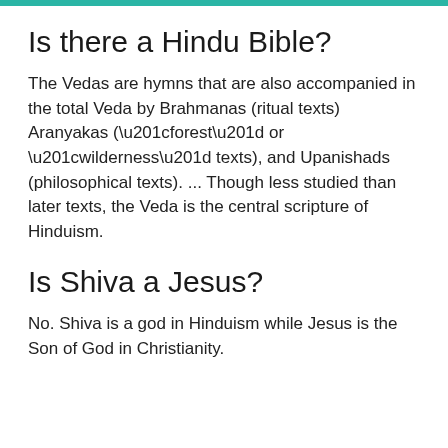Is there a Hindu Bible?
The Vedas are hymns that are also accompanied in the total Veda by Brahmanas (ritual texts) Aranyakas (“forest” or “wilderness” texts), and Upanishads (philosophical texts). ... Though less studied than later texts, the Veda is the central scripture of Hinduism.
Is Shiva a Jesus?
No. Shiva is a god in Hinduism while Jesus is the Son of God in Christianity.